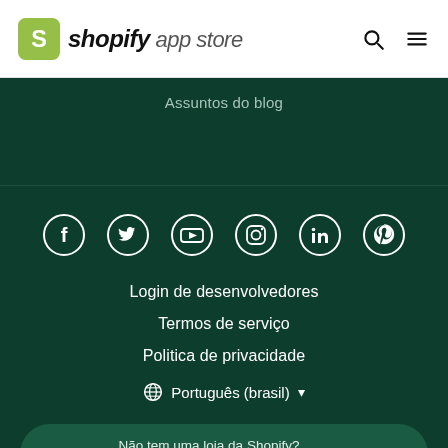[Figure (logo): Shopify App Store logo with shopping bag icon]
Assuntos do blog
[Figure (infographic): Social media icons row: Facebook, Twitter, YouTube, Instagram, LinkedIn, Pinterest]
Login de desenvolvedores
Termos de serviço
Politica de privacidade
🌐 Português (brasil) ▾
Não tem uma loja da Shopify? Aproveite a avaliação gratuita →